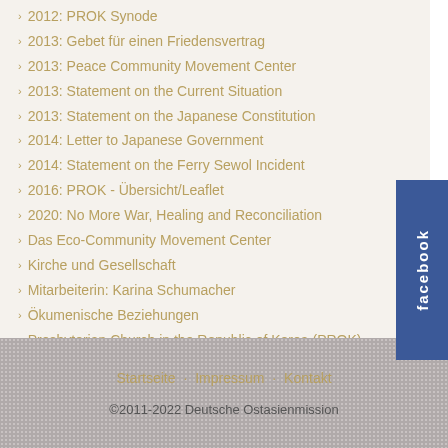2012: PROK Synode
2013: Gebet für einen Friedensvertrag
2013: Peace Community Movement Center
2013: Statement on the Current Situation
2013: Statement on the Japanese Constitution
2014: Letter to Japanese Government
2014: Statement on the Ferry Sewol Incident
2016: PROK - Übersicht/Leaflet
2020: No More War, Healing and Reconciliation
Das Eco-Community Movement Center
Kirche und Gesellschaft
Mitarbeiterin: Karina Schumacher
Ökumenische Beziehungen
Presbyterian Church in the Republic of Korea (PROK)
Startseite · Impressum · Kontakt
©2011-2022 Deutsche Ostasienmission